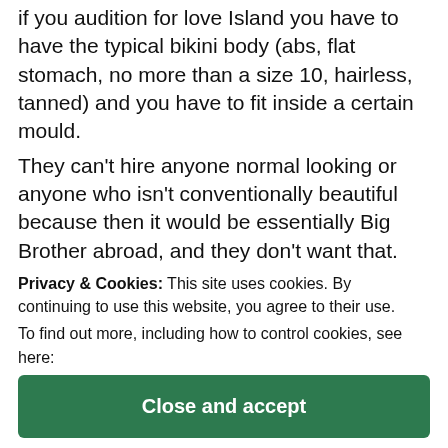if you audition for love Island you have to have the typical bikini body (abs, flat stomach, no more than a size 10, hairless, tanned) and you have to fit inside a certain mould.
They can't hire anyone normal looking or anyone who isn't conventionally beautiful because then it would be essentially Big Brother abroad, and they don't want that.
This year the boys feel really disloyal compared to the previous series.
For example Series Three Chris and Olivia were scoring and fighting but we all knew at the end of the episode or the end of the series they would end up to other.
Privacy & Cookies: This site uses cookies. By continuing to use this website, you agree to their use.
To find out more, including how to control cookies, see here: Cookie Policy
Close and accept